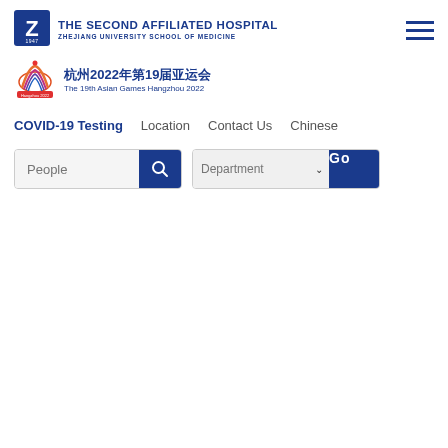[Figure (logo): The Second Affiliated Hospital, Zhejiang University School of Medicine logo with Z emblem]
THE SECOND AFFILIATED HOSPITAL ZHEJIANG UNIVERSITY SCHOOL OF MEDICINE
[Figure (logo): Hangzhou 2022 19th Asian Games logo with fan/ribbon design]
杭州2022年第19届亚运会 The 19th Asian Games Hangzhou 2022
COVID-19 Testing   Location   Contact Us   Chinese
People [search] Department Go